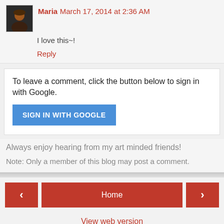Maria March 17, 2014 at 2:36 AM
I love this~!
Reply
To leave a comment, click the button below to sign in with Google.
SIGN IN WITH GOOGLE
Always enjoy hearing from my art minded friends!
Note: Only a member of this blog may post a comment.
Home
View web version
Powered by Blogger.